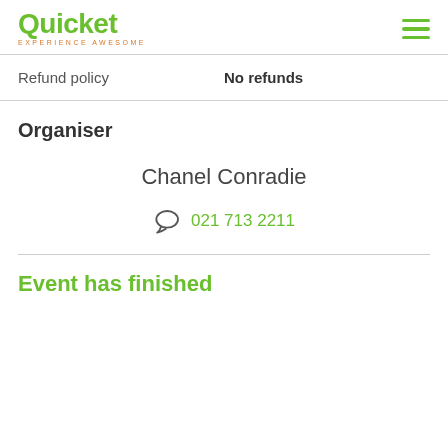Quicket EXPERIENCE AWESOME
Refund policy   No refunds
Organiser
Chanel Conradie
021 713 2211
Event has finished